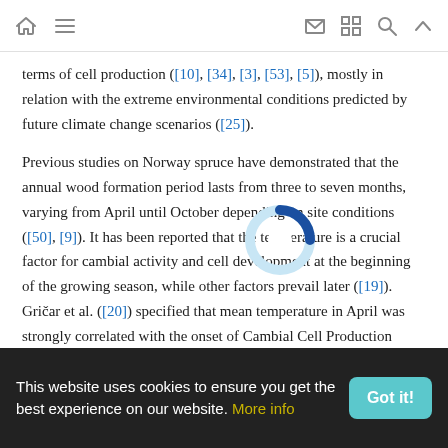[navigation icons: home, menu, mail, grid, search, up-arrow]
terms of cell production ([10], [34], [3], [53], [5]), mostly in relation with the extreme environmental conditions predicted by future climate change scenarios ([25]).
Previous studies on Norway spruce have demonstrated that the annual wood formation period lasts from three to seven months, varying from April until October depending on site conditions ([50], [9]). It has been reported that the temperature is a crucial factor for cambial activity and cell development at the beginning of the growing season, while other factors prevail later ([19]). Gričar et al. ([20]) specified that mean temperature in April was strongly correlated with the onset of Cambial Cell Production (CCP). Similarly, Körner ([27])...
This website uses cookies to ensure you get the best experience on our website. More info